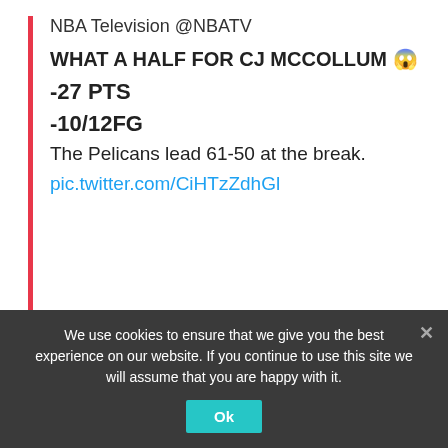NBA Television @NBATV
WHAT A HALF FOR CJ MCCOLLUM 😱
-27 PTS
-10/12FG
The Pelicans lead 61-50 at the break.
pic.twitter.com/CiHTzZdhGl
McCollum, who was down 32 total points on 12-of-23 shooting, scored 19 points in the second quarter to give the Pels a 61-50 halftime lead.
We use cookies to ensure that we give you the best experience on our website. If you continue to use this site we will assume that you are happy with it. Ok